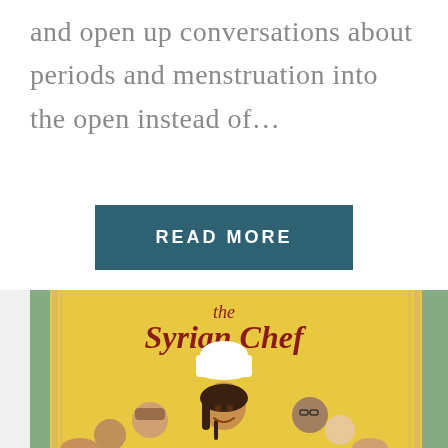and open up conversations about periods and menstruation into the open instead of…
READ MORE
[Figure (illustration): Book cover of 'the Syrian Chef' showing an illustrated girl in a chef's hat surrounded by other characters on a yellow background]